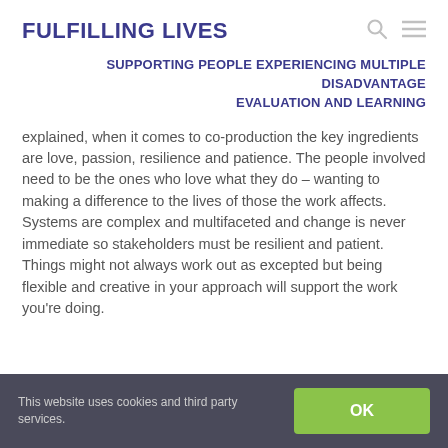FULFILLING LIVES
SUPPORTING PEOPLE EXPERIENCING MULTIPLE DISADVANTAGE EVALUATION AND LEARNING
explained, when it comes to co-production the key ingredients are love, passion, resilience and patience. The people involved need to be the ones who love what they do – wanting to making a difference to the lives of those the work affects. Systems are complex and multifaceted and change is never immediate so stakeholders must be resilient and patient. Things might not always work out as excepted but being flexible and creative in your approach will support the work you're doing.
This website uses cookies and third party services.